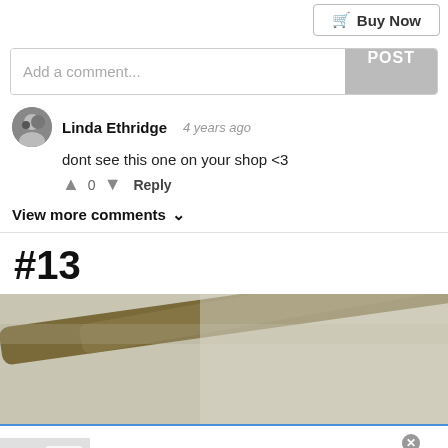[Figure (screenshot): Buy Now button with shopping cart icon in top right corner]
[Figure (screenshot): Comment input box with POST button]
Linda Ethridge 4 years ago
dont see this one on your shop <3
↑ 0 ↓ Reply
View more comments ∨
#13
[Figure (photo): Close-up photo of what appears to be a stick or branch against a light background]
[Figure (screenshot): Advertisement for Official NFL Gear showing football jerseys, title 'Official NFL Gear', subtitle 'Get Your Favorite Team's Gear Here', url 'www.nflshop.com', with blue arrow button]